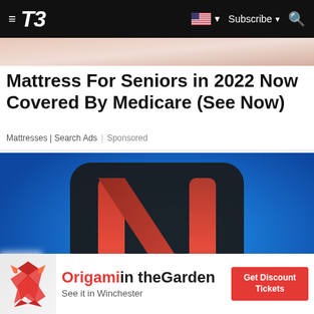T3 — Subscribe
[Figure (photo): Partial hero image at top, skin-toned background]
Mattress For Seniors in 2022 Now Covered By Medicare (See Now)
Mattresses | Search Ads | Sponsored
[Figure (photo): Netflix logo (N made of bacon strips) on a blue background]
[Figure (photo): Origami in the Garden advertisement banner — See it in Winchester — Get Discount Tickets]